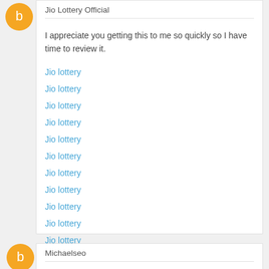Jio Lottery Official
I appreciate you getting this to me so quickly so I have time to review it.
Jio lottery
Jio lottery
Jio lottery
Jio lottery
Jio lottery
Jio lottery
Jio lottery
Jio lottery
Jio lottery
Jio lottery
Jio lottery
Jio lottery
Reply
Michaelseo